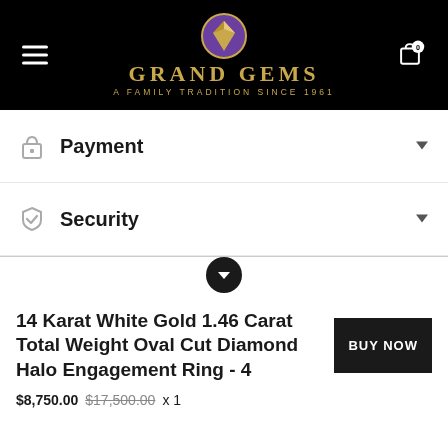[Figure (logo): Grand Gems logo with purple and gold diamond gem icon, brand name GRAND GEMS in gold, tagline A FAMILY TRADITION SINCE 1961]
Payment
Security
14 Karat White Gold 1.46 Carat Total Weight Oval Cut Diamond Halo Engagement Ring - 4
$8,750.00 $17,500.00 x 1